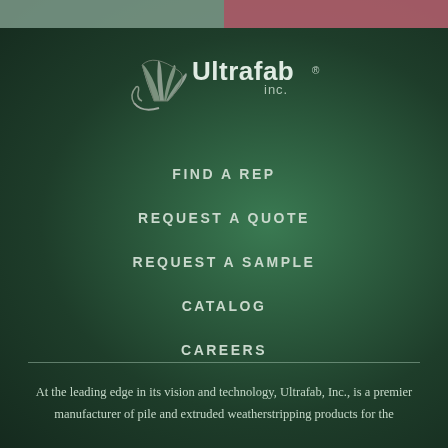[Figure (logo): Ultrafab Inc. logo with stylized leaf/fan graphic and text 'Ultrafab inc.']
FIND A REP
REQUEST A QUOTE
REQUEST A SAMPLE
CATALOG
CAREERS
At the leading edge in its vision and technology, Ultrafab, Inc., is a premier manufacturer of pile and extruded weatherstripping products for the